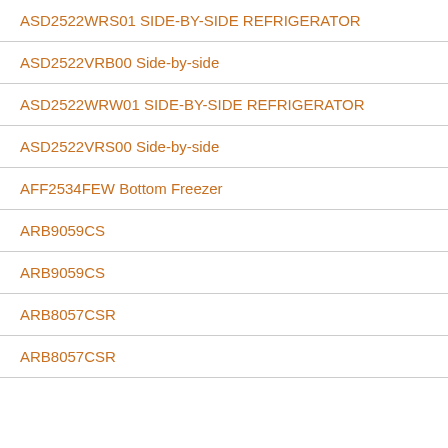ASD2522WRS01 SIDE-BY-SIDE REFRIGERATOR
ASD2522VRB00 Side-by-side
ASD2522WRW01 SIDE-BY-SIDE REFRIGERATOR
ASD2522VRS00 Side-by-side
AFF2534FEW Bottom Freezer
ARB9059CS
ARB9059CS
ARB8057CSR
ARB8057CSR